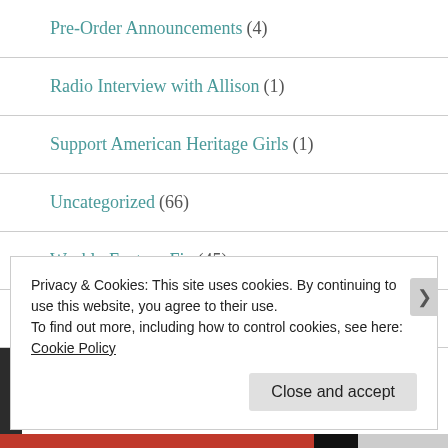Pre-Order Announcements (4)
Radio Interview with Allison (1)
Support American Heritage Girls (1)
Uncategorized (66)
Weekly Fantasy Fix (45)
What's New Wednesday (7)
Privacy & Cookies: This site uses cookies. By continuing to use this website, you agree to their use.
To find out more, including how to control cookies, see here: Cookie Policy
Close and accept